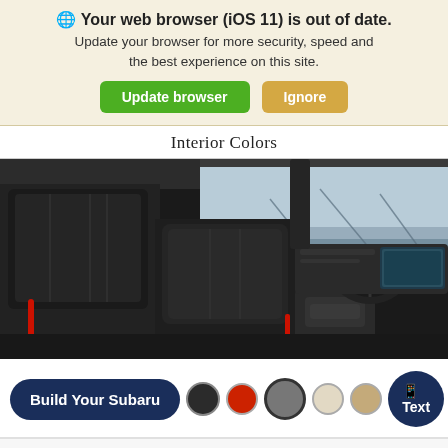🌐 Your web browser (iOS 11) is out of date. Update your browser for more security, speed and the best experience on this site. [Update browser] [Ignore]
Interior Colors
[Figure (photo): Car interior photograph showing black leather seats, steering wheel, dashboard, and infotainment screen of a Subaru vehicle, taken from rear-left angle with city skyline visible through windshield.]
Build Your Subaru   Text   Chat
Search   Contact   Glovebox   [accessibility icon]